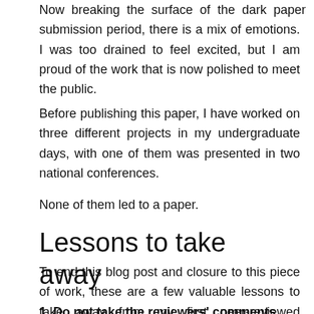Now breaking the surface of the dark paper submission period, there is a mix of emotions. I was too drained to feel excited, but I am proud of the work that is now polished to meet the public.
Before publishing this paper, I have worked on three different projects in my undergraduate days, with one of them was presented in two national conferences.
None of them led to a paper.
Lessons to take away
To end this blog post and closure to this piece of work, these are a few valuable lessons to take away from my first peer-reviewed publication.
1. Do not take the reviewers' comments